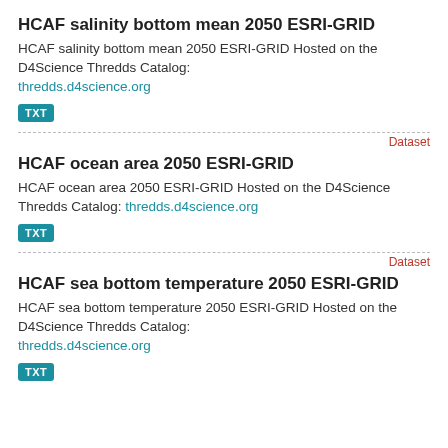HCAF salinity bottom mean 2050 ESRI-GRID
HCAF salinity bottom mean 2050 ESRI-GRID Hosted on the D4Science Thredds Catalog: thredds.d4science.org
TXT
Dataset
HCAF ocean area 2050 ESRI-GRID
HCAF ocean area 2050 ESRI-GRID Hosted on the D4Science Thredds Catalog: thredds.d4science.org
TXT
Dataset
HCAF sea bottom temperature 2050 ESRI-GRID
HCAF sea bottom temperature 2050 ESRI-GRID Hosted on the D4Science Thredds Catalog: thredds.d4science.org
TXT